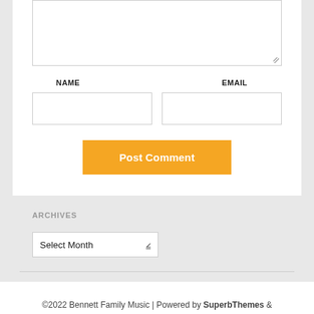NAME
EMAIL
Post Comment
ARCHIVES
Select Month
©2022 Bennett Family Music | Powered by SuperbThemes & WordPress